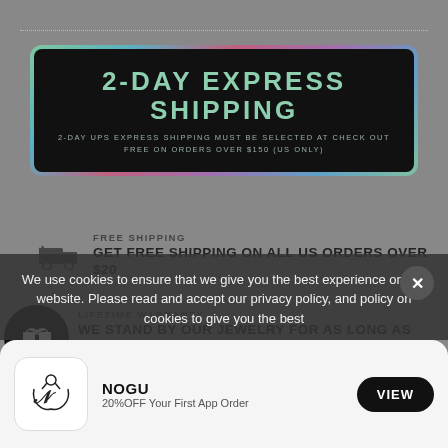[Figure (infographic): 2-Day Express Shipping banner with dark background and colorful gradient border. Text: '2-DAY EXPRESS SHIPPING' and '2-DAY UPS EXPRESS SHIPPING MUST BE SELECTED AT CHECK OUT FREE ON ORDERS OVER $150 (US ONLY)']
FREE SHIPPING
GET FREE SHIPPING ON ALL US ORDERS OVER $20
LIFETIME WARRANTY
WE STAND BY OUR JEWELRY FOR AS LONG AS YOU OWN IT. PERIOD.
We use cookies to ensure that we give you the best experience on our website. Please read and accept our privacy policy, and policy on cookies to give you the best
[Figure (logo): NOGU brand logo - stylized N with decorative flourish]
NOGU
20%OFF Your First App Order
VIEW